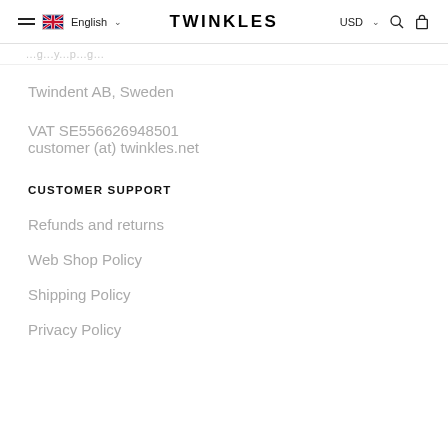TWINKLES — English | USD
...g...y...p...g...
Twindent AB, Sweden
VAT SE556626948501
customer (at) twinkles.net
CUSTOMER SUPPORT
Refunds and returns
Web Shop Policy
Shipping Policy
Privacy Policy